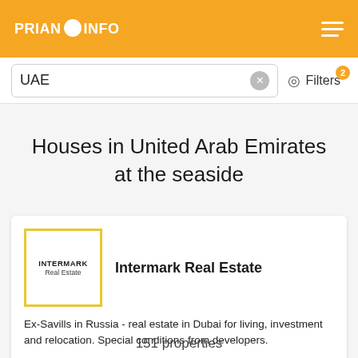PRIAN INFO
UAE
Filters 2
Houses in United Arab Emirates at the seaside
[Figure (logo): Intermark Real Estate logo - yellow square border with company name inside]
Intermark Real Estate
Ex-Savills in Russia - real estate in Dubai for living, investment and relocation. Special conditions from developers.
Show offers
151 properties